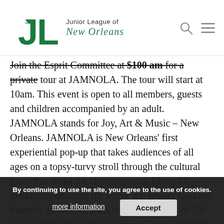Junior League of New Orleans
Join the Esprit Committee at $100 am for a private tour at JAMNOLA. The tour will start at 10am. This event is open to all members, guests and children accompanied by an adult. JAMNOLA stands for Joy, Art & Music – New Orleans. JAMNOLA is New Orleans' first experiential pop-up that takes audiences of all ages on a topsy-turvy stroll through the cultural gems that make the city so special. Enjoy 12 exhibits celebrating the iconic art, music, food and theatrics of New Orleans through the eyes of 20+ local artists and creative partners. Due to COVID-19 safety regulations, this event is limited to 25 guests. Guests and JAMNOLA staff are required to wear masks at all times. ***You may not remove your mask for photos.*** All guests that purchase a ticket or enter
By continuing to use the site, you agree to the use of cookies. more information  Accept